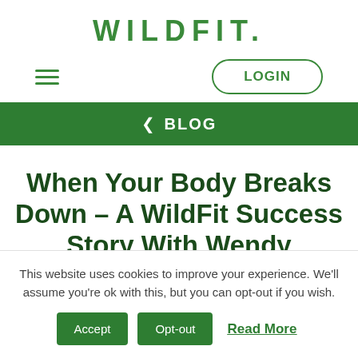WILDFIT.
[Figure (logo): WILDFIT. logo in green with hamburger menu and LOGIN button]
< BLOG
When Your Body Breaks Down – A WildFit Success Story With Wendy
This website uses cookies to improve your experience. We'll assume you're ok with this, but you can opt-out if you wish.
Accept   Opt-out   Read More